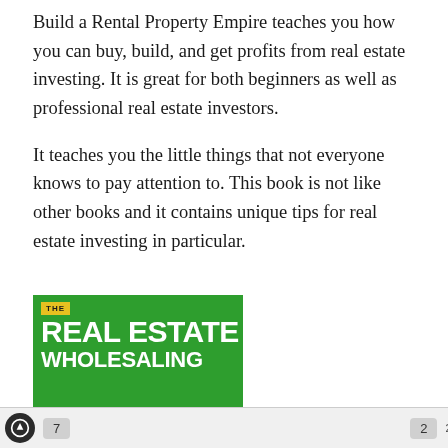Build a Rental Property Empire teaches you how you can buy, build, and get profits from real estate investing. It is great for both beginners as well as professional real estate investors.
It teaches you the little things that not everyone knows to pay attention to. This book is not like other books and it contains unique tips for real estate investing in particular.
[Figure (illustration): Book cover for 'The Real Estate Wholesaling' — green background with bold white text and a yellow 'THE' label banner at top left.]
7   2   24MB   916ms   8.0.1